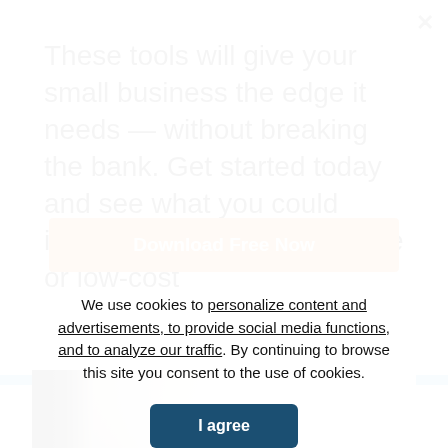These tools will give your small business the edge it needs — without breaking the bank. Get started today and see what you could improve upon with these free or low-cost
Download Free Now
[Figure (photo): Person with head bowed down resting on hands at a desk, with a monitor visible on the left and a bright window in the background]
We use cookies to personalize content and advertisements, to provide social media functions, and to analyze our traffic. By continuing to browse this site you consent to the use of cookies.
I agree